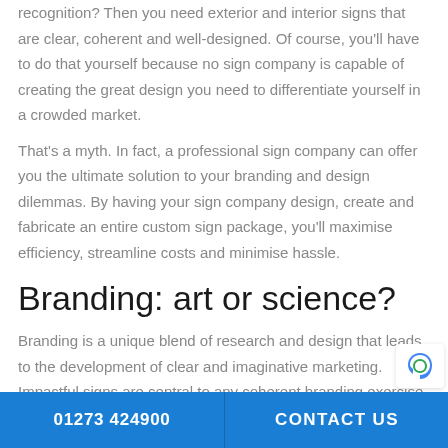recognition? Then you need exterior and interior signs that are clear, coherent and well-designed. Of course, you'll have to do that yourself because no sign company is capable of creating the great design you need to differentiate yourself in a crowded market.
That's a myth. In fact, a professional sign company can offer you the ultimate solution to your branding and design dilemmas. By having your sign company design, create and fabricate an entire custom sign package, you'll maximise efficiency, streamline costs and minimise hassle.
Branding: art or science?
Branding is a unique blend of research and design that leads to the development of clear and imaginative marketing. Impactful signs are central to any coherent branding exercise and a strategic signa…
01273 424900   CONTACT US